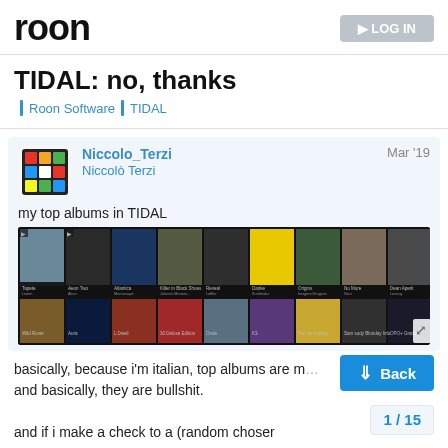roon
TIDAL: no, thanks
Roon Software | TIDAL
Niccolo_Terzi
Niccolò Terzi
Mar '19
my top albums in TIDAL
[Figure (screenshot): Grid of album covers in TIDAL interface, two rows of approximately 9 album thumbnails each on a dark background]
basically, because i'm italian, top albums are m...
and basically, they are bullshit.

and if i make a check to a (random choser